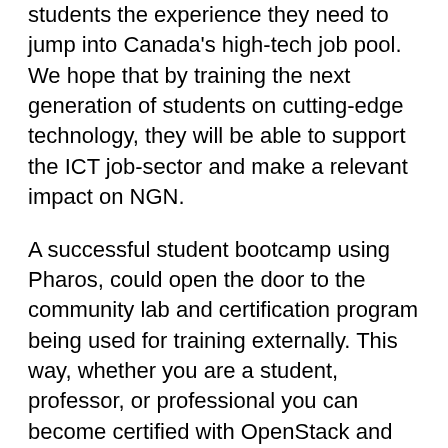students the experience they need to jump into Canada's high-tech job pool. We hope that by training the next generation of students on cutting-edge technology, they will be able to support the ICT job-sector and make a relevant impact on NGN.
A successful student bootcamp using Pharos, could open the door to the community lab and certification program being used for training externally. This way, whether you are a student, professor, or professional you can become certified with OpenStack and Pharos. It is easy to see the potential of leveraging CENGN's partnerships with academia to provide extensive en masse training in OPNFV, NFVi, and Pharos. In fact, CENGN has regularly hosted large scale external training sessions, pairing academic partners with our members. Probably our most recent example being the